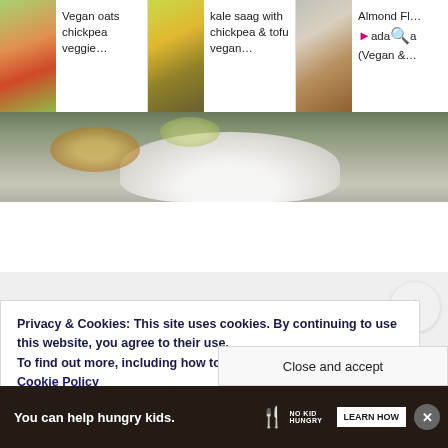[Figure (screenshot): Recipe card: Vegan oats chickpea veggie... with food thumbnail]
Vegan oats chickpea veggie…
[Figure (screenshot): Recipe card: kale saag with chickpea & tofu vegan... with food thumbnail]
kale saag with chickpea & tofu vegan…
[Figure (screenshot): Recipe card: Almond Fl... pada... (Vegan &... with food thumbnail and search icon overlay]
Almond Fl… pada…a (Vegan &…
[Figure (photo): Hero food photograph showing a plate with food on a dark stone/grey surface]
Privacy & Cookies: This site uses cookies. By continuing to use this website, you agree to their use.
To find out more, including how to control cookies, see here: Cookie Policy
[Figure (screenshot): Close and accept button partially visible]
Close and accept
[Figure (screenshot): Ad banner: You can help hungry kids. No Kid Hungry. Learn How. with close button (X)]